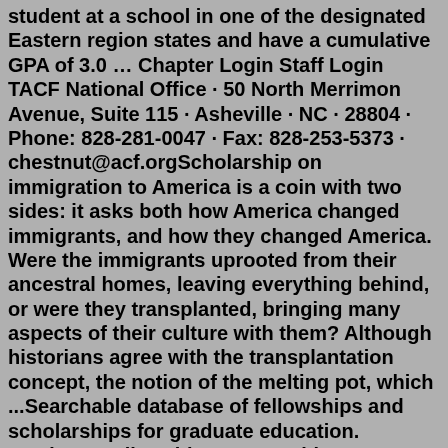student at a school in one of the designated Eastern region states and have a cumulative GPA of 3.0 … Chapter Login Staff Login TACF National Office · 50 North Merrimon Avenue, Suite 115 · Asheville · NC · 28804 · Phone: 828-281-0047 · Fax: 828-253-5373 · chestnut@acf.orgScholarship on immigration to America is a coin with two sides: it asks both how America changed immigrants, and how they changed America. Were the immigrants uprooted from their ancestral homes, leaving everything behind, or were they transplanted, bringing many aspects of their culture with them? Although historians agree with the transplantation concept, the notion of the melting pot, which ...Searchable database of fellowships and scholarships for graduate education. Graduate Fellowship Opportunities - Graduate Education - College of Engineering - Purdue University ... Korean American Scholarship Foundation. TAGS. DACA. Legal Permanent Residents. Select Foreign Nationals. U.S. Citizens. ... 610 Purdue Mall, West Lafayette, IN, 47907 ...Jun 30, 2022 · The Korean American